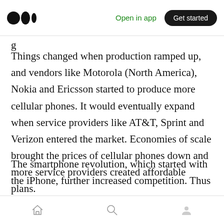Medium app navigation bar with logo, Open in app, Get started
g
Things changed when production ramped up, and vendors like Motorola (North America), Nokia and Ericsson started to produce more cellular phones. It would eventually expand when service providers like AT&T, Sprint and Verizon entered the market. Economies of scale brought the prices of cellular phones down and more service providers created affordable plans.
The smartphone revolution, which started with the iPhone, further increased competition. Thus
Home, Search, Profile navigation icons